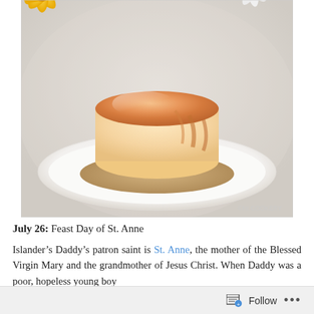[Figure (photo): A golden-brown flan or custard pudding on a white plate with caramel sauce, with yellow sunflowers in the background. Watermark reads 'HI COOKERY' in bottom right corner.]
July 26: Feast Day of St. Anne
Islander’s Daddy’s patron saint is St. Anne, the mother of the Blessed Virgin Mary and the grandmother of Jesus Christ. When Daddy was a poor, hopeless young boy